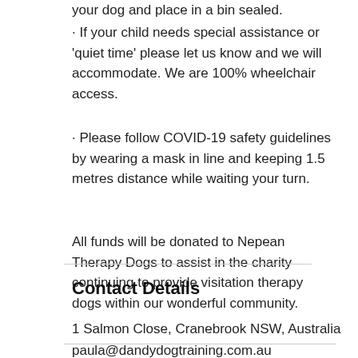· If your child needs special assistance or 'quiet time' please let us know and we will accommodate. We are 100% wheelchair access.
· Please follow COVID-19 safety guidelines by wearing a mask in line and keeping 1.5 metres distance while waiting your turn.
All funds will be donated to Nepean Therapy Dogs to assist in the charity continuing to provide visitation therapy dogs within our wonderful community.
Contact Details
1 Salmon Close, Cranebrook NSW, Australia
paula@dandydogtraining.com.au